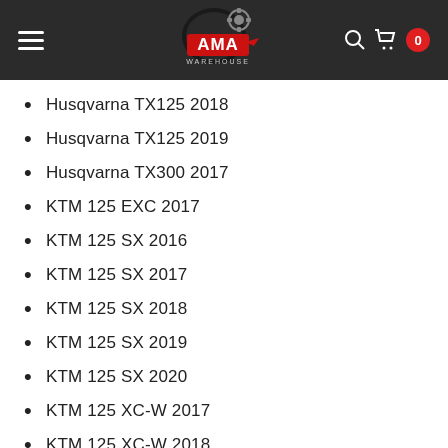[Figure (logo): AMA Warehouse logo with motorcycle helmet and gear graphic on dark background header bar]
Husqvarna TX125 2018
Husqvarna TX125 2019
Husqvarna TX300 2017
KTM 125 EXC 2017
KTM 125 SX 2016
KTM 125 SX 2017
KTM 125 SX 2018
KTM 125 SX 2019
KTM 125 SX 2020
KTM 125 XC-W 2017
KTM 125 XC-W 2018
KTM 150 SX 2016